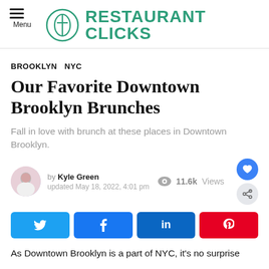RESTAURANT CLICKS
BROOKLYN  NYC
Our Favorite Downtown Brooklyn Brunches
Fall in love with brunch at these places in Downtown Brooklyn.
by Kyle Green
updated May 18, 2022, 4:01 pm
11.6k Views
[Figure (infographic): Social share buttons: Twitter (blue), Facebook (blue), LinkedIn (dark blue), Pinterest (red)]
As Downtown Brooklyn is a part of NYC, it's no surprise